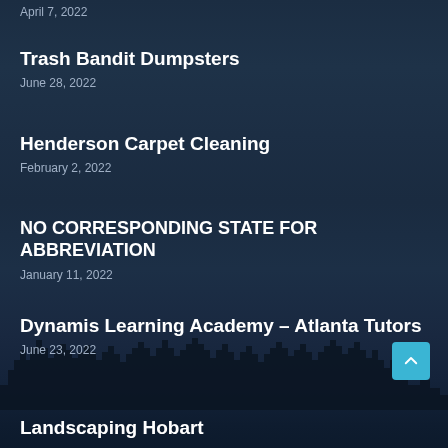April 7, 2022
Trash Bandit Dumpsters
June 28, 2022
Henderson Carpet Cleaning
February 2, 2022
NO CORRESPONDING STATE FOR ABBREVIATION
January 11, 2022
Dynamis Learning Academy – Atlanta Tutors
June 23, 2022
Landscaping Hobart